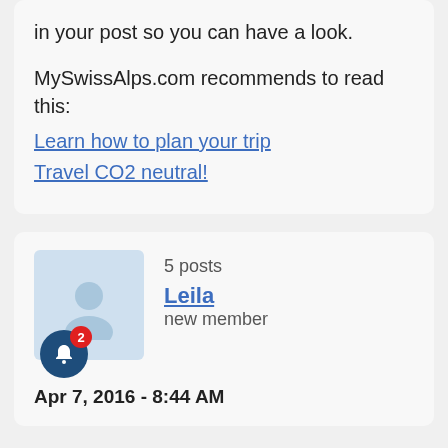in your post so you can have a look.
MySwissAlps.com recommends to read this:
Learn how to plan your trip
Travel CO2 neutral!
5 posts
new member
Leila
Apr 7, 2016 - 8:44 AM